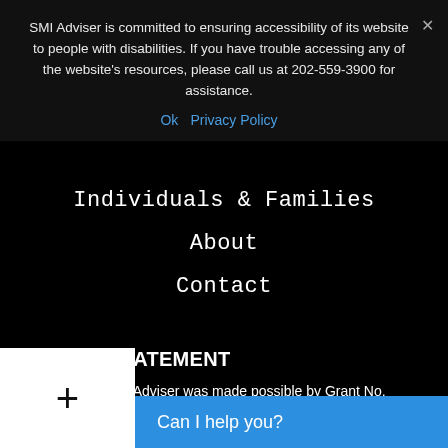SMI Adviser is committed to ensuring accessibility of its website to people with disabilities. If you have trouble accessing any of the website's resources, please call us at 202-559-3900 for assistance.
Ok   Privacy Policy
Individuals & Families
About
Contact
GRANT STATEMENT
Funding for SMI Adviser was made possible by Grant No. SM080818 from SAMHSA of the U.S. Department of Health and Human Services (HHS). The contents are those of the author(s) and do not necessarily represent official views of, nor an endorsement by, MHSA/HHS or the U.S. Government.
[Figure (other): White popup box with a plus (+) symbol]
Can I help you?